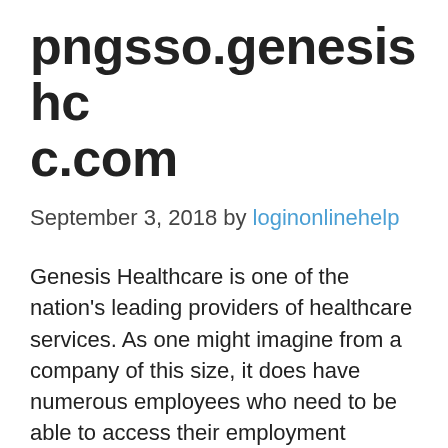pngsso.genesishcc.com
September 3, 2018 by loginonlinehelp
Genesis Healthcare is one of the nation's leading providers of healthcare services. As one might imagine from a company of this size, it does have numerous employees who need to be able to access their employment information quickly. To help expedite this process, Genesis has created an employee